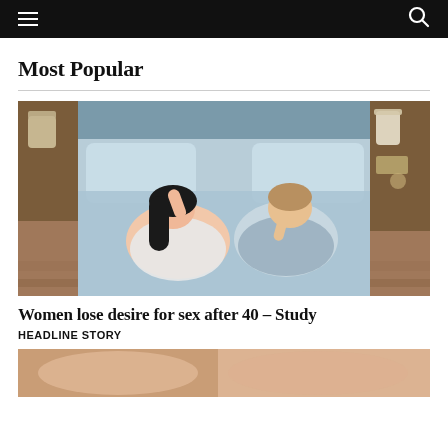Navigation bar with hamburger menu and search icon
Most Popular
[Figure (photo): Aerial view of a couple lying in bed with blue/grey bedding and turning away from each other, nightstands with items on either side, wooden floor visible]
Women lose desire for sex after 40 – Study
HEADLINE STORY
[Figure (photo): Partial view of another article image at the bottom of the page, showing warm skin tones]